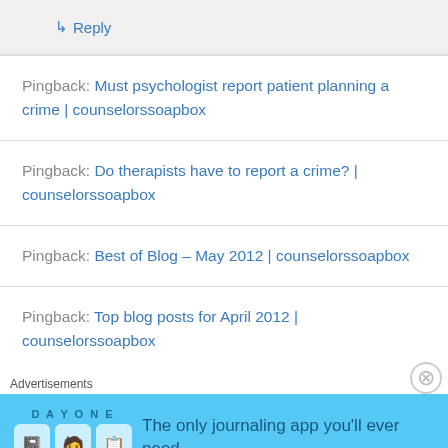↳ Reply
Pingback: Must psychologist report patient planning a crime | counselorssoapbox
Pingback: Do therapists have to report a crime? | counselorssoapbox
Pingback: Best of Blog – May 2012 | counselorssoapbox
Pingback: Top blog posts for April 2012 | counselorssoapbox
Advertisements
[Figure (other): Day One journaling app advertisement banner with icons and text: The only journaling app you'll ever need.]